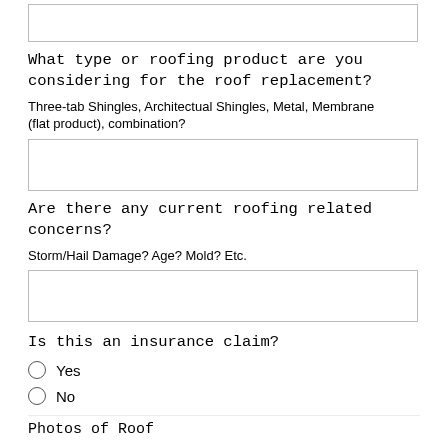[input box]
What type or roofing product are you considering for the roof replacement?
Three-tab Shingles, Architectual Shingles, Metal, Membrane (flat product), combination?
[input box]
Are there any current roofing related concerns?
Storm/Hail Damage? Age? Mold? Etc.
[input box]
Is this an insurance claim?
Yes
No
Photos of Roof